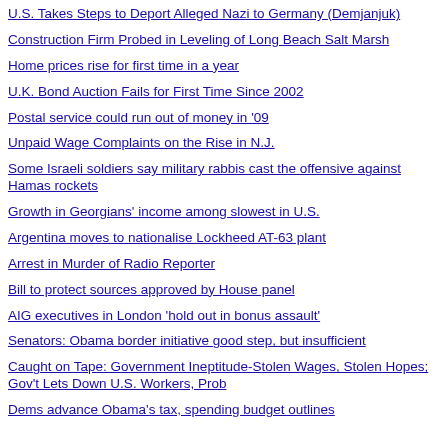U.S. Takes Steps to Deport Alleged Nazi to Germany (Demjanjuk)
Construction Firm Probed in Leveling of Long Beach Salt Marsh
Home prices rise for first time in a year
U.K. Bond Auction Fails for First Time Since 2002
Postal service could run out of money in '09
Unpaid Wage Complaints on the Rise in N.J.
Some Israeli soldiers say military rabbis cast the offensive against Hamas rockets
Growth in Georgians' income among slowest in U.S.
Argentina moves to nationalise Lockheed AT-63 plant
Arrest in Murder of Radio Reporter
Bill to protect sources approved by House panel
AIG executives in London 'hold out in bonus assault'
Senators: Obama border initiative good step, but insufficient
Caught on Tape: Government Ineptitude-Stolen Wages, Stolen Hopes; Gov't Lets Down U.S. Workers, Prob
Dems advance Obama's tax, spending budget outlines